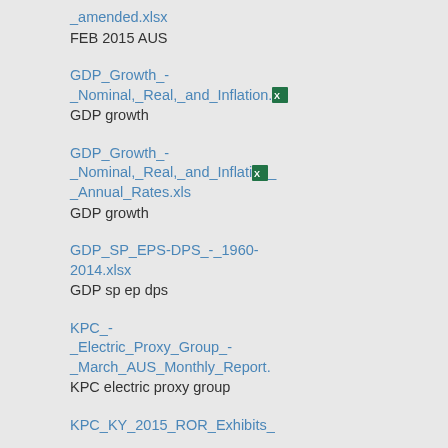_amended.xlsx
FEB 2015 AUS
GDP_Growth_-_Nominal,_Real,_and_Inflation.
GDP growth
GDP_Growth_-_Nominal,_Real,_and_Inflation_-_Annual_Rates.xls
GDP growth
GDP_SP_EPS-DPS_-_1960-2014.xlsx
GDP sp ep dps
KPC_-_Electric_Proxy_Group_-_March_AUS_Monthly_Report.
KPC electric proxy group
KPC_KY_2015_ROR_Exhibits_